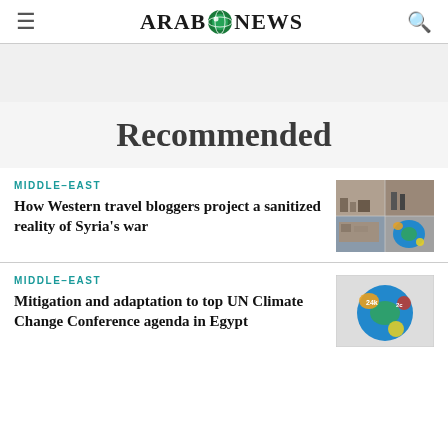ARAB NEWS
Recommended
MIDDLE-EAST
How Western travel bloggers project a sanitized reality of Syria's war
[Figure (photo): Collage of Syria war images showing destroyed buildings and rubble]
MIDDLE-EAST
Mitigation and adaptation to top UN Climate Change Conference agenda in Egypt
[Figure (photo): Illustration of climate and earth globe imagery with colorful graphics]